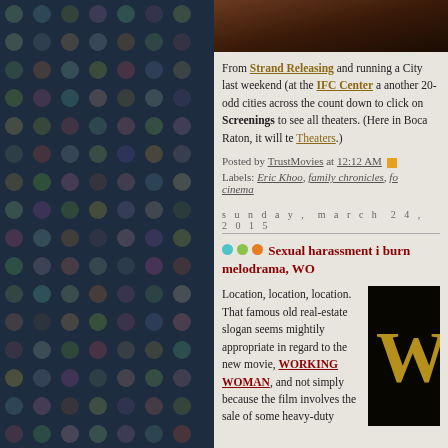[Figure (photo): Dark decorative dot-grid background panel on the left side of a blog page, with multicolored dots in a grid pattern on a dark navy/teal background]
[Figure (photo): Top portion of a movie still image showing a person with reddish-brown tones]
From Strand Releasing and running a City last weekend (at the IFC Center a another 20-odd cities across the count down to click on Screenings to see all theaters. (Here in Boca Raton, it will te Theaters.)
Posted by TrustMovies at 12:12 AM
Labels: Eric Khoo, family chronicles, fo cinema
sunday, march 24, 2019
Sexual harassment i burn melodrama, WO
Location, location, location. That famous old real-estate slogan seems mightily appropriate in regard to the new movie, WORKING WOMAN, and not simply because the film involves the sale of some heavy-duty
[Figure (photo): Movie poster for WORKING WOMAN showing a gold/yellow letter W against a dark background]